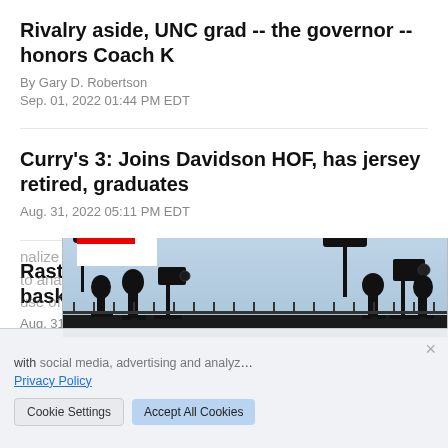Rivalry aside, UNC grad -- the governor -- honors Coach K
By Gary D. Robertson
Sep. 01, 2022 01:44 PM EDT
Curry's 3: Joins Davidson HOF, has jersey retired, graduates
Aug. 31, 2022 05:11 PM EDT
Rastatter new NCAA coordinator of men's basketball officials
Aug. 31, 2022 02:40 PM EDT
[Figure (photo): AP news advertisement banner with AP logo and silhouette photo of media/press crew with cameras and lighting equipment against a blue sky background. Cookie consent overlay also visible.]